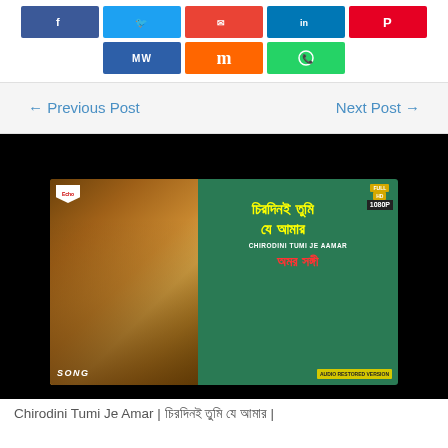[Figure (screenshot): Social media share buttons row: Facebook (blue), Twitter (cyan), Gmail (red/orange), LinkedIn (blue), Pinterest (red)]
[Figure (screenshot): Second row of share buttons: MeWe (dark blue), Mix (orange), WhatsApp (green)]
← Previous Post
Next Post →
[Figure (screenshot): Video thumbnail for Chirodini Tumi Je Aamar song from Amar Sanghi, Full HD 1080p, Audio Restored Version, with Bengali film actors couple image]
Chirodini Tumi Je Amar | চিরদিনই তুমি যে আমার |